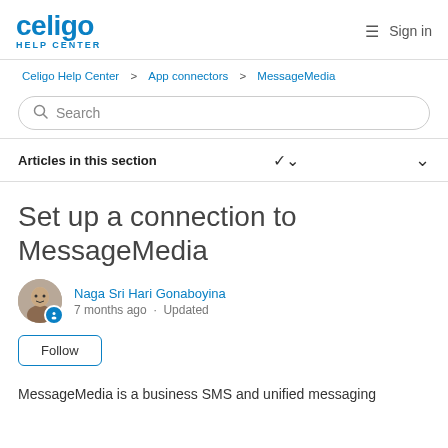celigo HELP CENTER  ≡  Sign in
Celigo Help Center > App connectors > MessageMedia
Search
Articles in this section
Set up a connection to MessageMedia
Naga Sri Hari Gonaboyina
7 months ago · Updated
Follow
MessageMedia is a business SMS and unified messaging